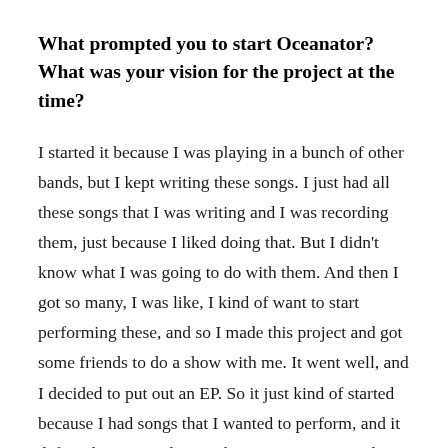What prompted you to start Oceanator? What was your vision for the project at the time?
I started it because I was playing in a bunch of other bands, but I kept writing these songs. I just had all these songs that I was writing and I was recording them, just because I liked doing that. But I didn't know what I was going to do with them. And then I got so many, I was like, I kind of want to start performing these, and so I made this project and got some friends to do a show with me. It went well, and I decided to put out an EP. So it just kind of started because I had songs that I wanted to perform, and it definitely got way bigger than I was expecting, but in a good way. This has been a very cool